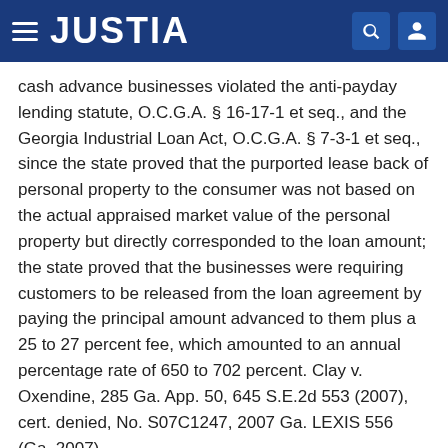JUSTIA
cash advance businesses violated the anti-payday lending statute, O.C.G.A. § 16-17-1 et seq., and the Georgia Industrial Loan Act, O.C.G.A. § 7-3-1 et seq., since the state proved that the purported lease back of personal property to the consumer was not based on the actual appraised market value of the personal property but directly corresponded to the loan amount; the state proved that the businesses were requiring customers to be released from the loan agreement by paying the principal amount advanced to them plus a 25 to 27 percent fee, which amounted to an annual percentage rate of 650 to 702 percent. Clay v. Oxendine, 285 Ga. App. 50, 645 S.E.2d 553 (2007), cert. denied, No. S07C1247, 2007 Ga. LEXIS 556 (Ga. 2007).
Prospective operation.
- Request by creditors for a preliminary injunction